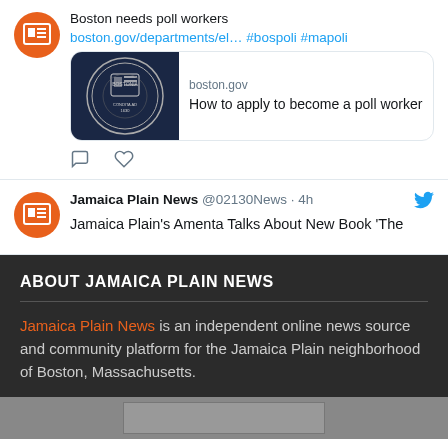Boston needs poll workers
boston.gov/departments/el… #bospoli #mapoli
[Figure (screenshot): Boston city seal on dark blue background - link card preview for boston.gov showing 'How to apply to become a poll worker']
Jamaica Plain News @02130News · 4h
Jamaica Plain's Amenta Talks About New Book 'The
ABOUT JAMAICA PLAIN NEWS
Jamaica Plain News is an independent online news source and community platform for the Jamaica Plain neighborhood of Boston, Massachusetts.